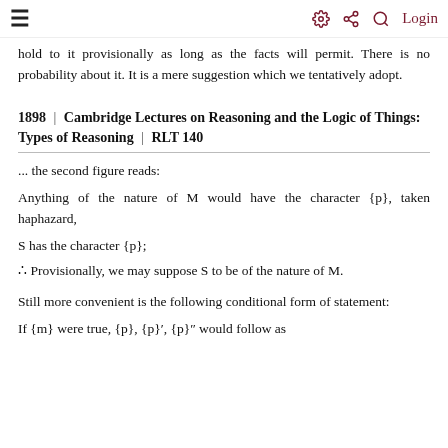≡  [gear] [share] [search]  Login
hold to it provisionally as long as the facts will permit. There is no probability about it. It is a mere suggestion which we tentatively adopt.
1898 | Cambridge Lectures on Reasoning and the Logic of Things: Types of Reasoning | RLT 140
... the second figure reads:
Anything of the nature of M would have the character {p}, taken haphazard,
S has the character {p};
∴ Provisionally, we may suppose S to be of the nature of M.
Still more convenient is the following conditional form of statement:
If {m} were true, {p}, {p}′, {p}″ would follow as